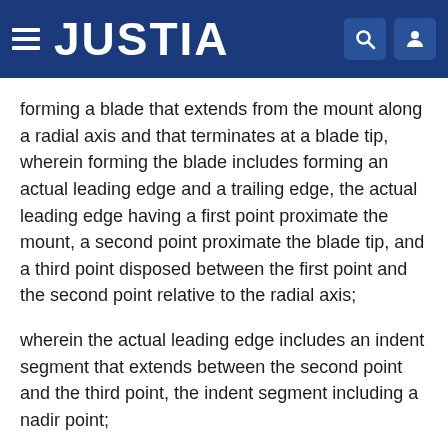JUSTIA
forming a blade that extends from the mount along a radial axis and that terminates at a blade tip, wherein forming the blade includes forming an actual leading edge and a trailing edge, the actual leading edge having a first point proximate the mount, a second point proximate the blade tip, and a third point disposed between the first point and the second point relative to the radial axis;
wherein the actual leading edge includes an indent segment that extends between the second point and the third point, the indent segment including a nadir point;
wherein forming the blade includes defining an imaginary leading edge that is coincident with the actual leading edge between the first point and the